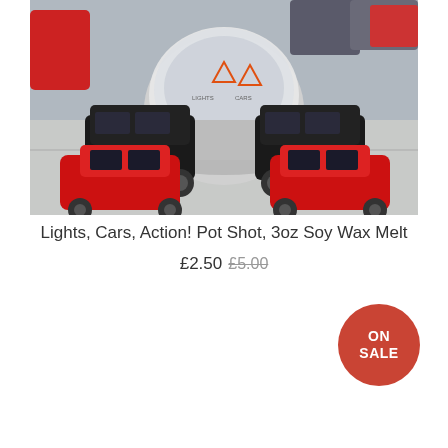[Figure (photo): Product photo showing toy cars (black SUVs and red sports cars) arranged around a round clear-lidded container of soy wax melt on a grey surface background]
Lights, Cars, Action! Pot Shot, 3oz Soy Wax Melt
£2.50  £5.00
ON SALE